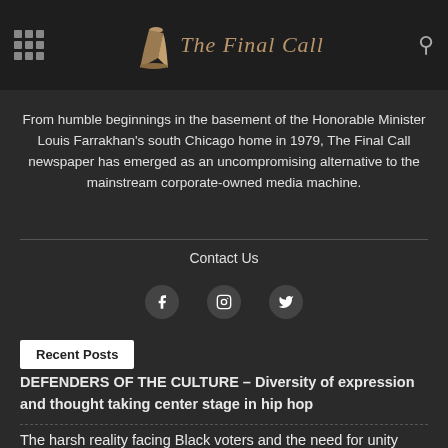The Final Call
From humble beginnings in the basement of the Honorable Minister Louis Farrakhan's south Chicago home in 1979, The Final Call newspaper has emerged as an uncompromising alternative to the mainstream corporate-owned media machine.
Contact Us
[Figure (infographic): Social media icons: Facebook, Instagram, Twitter]
Recent Posts
DEFENDERS OF THE CULTURE – Diversity of expression and thought taking center stage in hip hop
The harsh reality facing Black voters and the need for unity